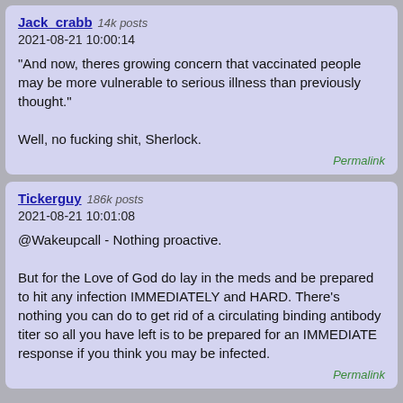Jack_crabb 14k posts
2021-08-21 10:00:14

"And now, theres growing concern that vaccinated people may be more vulnerable to serious illness than previously thought."

Well, no fucking shit, Sherlock.

Permalink
Tickerguy 186k posts
2021-08-21 10:01:08

@Wakeupcall - Nothing proactive.

But for the Love of God do lay in the meds and be prepared to hit any infection IMMEDIATELY and HARD. There's nothing you can do to get rid of a circulating binding antibody titer so all you have left is to be prepared for an IMMEDIATE response if you think you may be infected.

Permalink